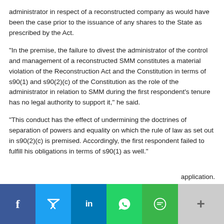administrator in respect of a reconstructed company as would have been the case prior to the issuance of any shares to the State as prescribed by the Act.
"In the premise, the failure to divest the administrator of the control and management of a reconstructed SMM constitutes a material violation of the Reconstruction Act and the Constitution in terms of s90(1) and s90(2)(c) of the Constitution as the role of the administrator in relation to SMM during the first respondent's tenure has no legal authority to support it," he said.
"This conduct has the effect of undermining the doctrines of separation of powers and equality on which the rule of law as set out in s90(2)(c) is premised. Accordingly, the first respondent failed to fulfill his obligations in terms of s90(1) as well."
application.